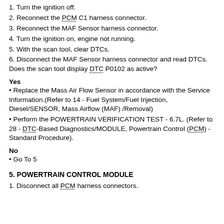1. Turn the ignition off.
2. Reconnect the PCM C1 harness connector.
3. Reconnect the MAF Sensor harness connector.
4. Turn the ignition on, engine not running.
5. With the scan tool, clear DTCs.
6. Disconnect the MAF Sensor harness connector and read DTCs. Does the scan tool display DTC P0102 as active?
Yes
• Replace the Mass Air Flow Sensor in accordance with the Service Information.(Refer to 14 - Fuel System/Fuel Injection, Diesel/SENSOR, Mass Airflow (MAF) /Removal)
• Perform the POWERTRAIN VERIFICATION TEST - 6.7L. (Refer to 28 - DTC-Based Diagnostics/MODULE, Powertrain Control (PCM) - Standard Procedure).
No
• Go To 5
5. POWERTRAIN CONTROL MODULE
1. Disconnect all PCM harness connectors.